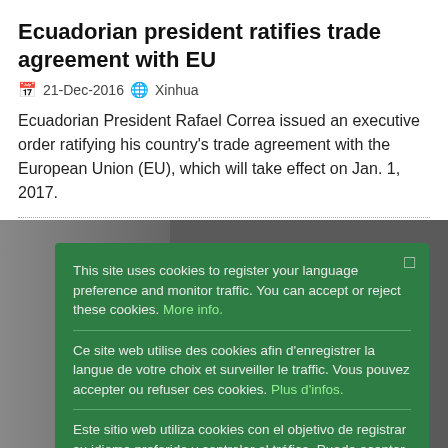Ecuadorian president ratifies trade agreement with EU
21-Dec-2016  Xinhua
Ecuadorian President Rafael Correa issued an executive order ratifying his country's trade agreement with the European Union (EU), which will take effect on Jan. 1, 2017.
[Figure (photo): Background photo of a person, partially visible, obscured by cookie consent overlay]
This site uses cookies to register your language preference and monitor traffic. You can accept or reject these cookies. More info.
Ce site web utilise des cookies afin d'enregistrer la langue de votre choix et surveiller le traffic. Vous pouvez accepter ou refuser ces cookies. Plus d'infos.
Este sitio web utiliza cookies con el objetivo de registrar su idioma preferido y controlar el tráfico. Puede aceptar o rechazar estas cookies. Mayor información.
Ok